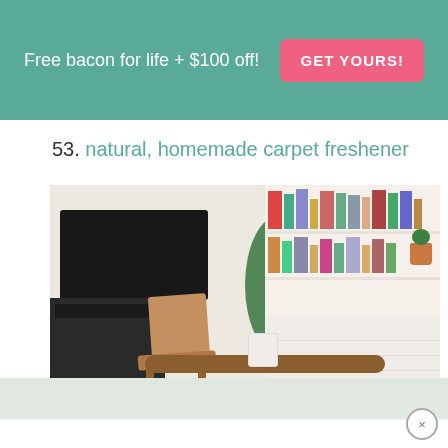Free bacon for life + $100 off!  GET YOURS!
53. natural, homemade carpet freshener
[Figure (photo): Interior living room photo showing a TV mounted on wall, a wooden Eames-style chair and coffee table, houseplants including a monstera, and white bookshelves filled with books and plants on the right side.]